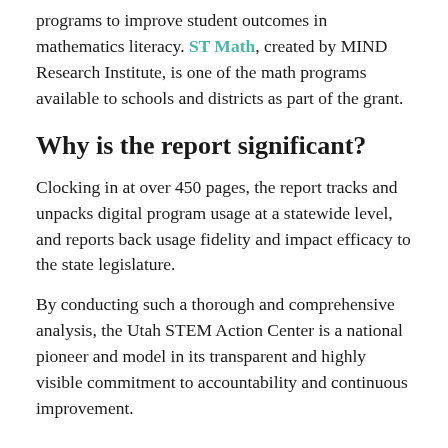programs to improve student outcomes in mathematics literacy. ST Math, created by MIND Research Institute, is one of the math programs available to schools and districts as part of the grant.
Why is the report significant?
Clocking in at over 450 pages, the report tracks and unpacks digital program usage at a statewide level, and reports back usage fidelity and impact efficacy to the state legislature.
By conducting such a thorough and comprehensive analysis, the Utah STEM Action Center is a national pioneer and model in its transparent and highly visible commitment to accountability and continuous improvement.